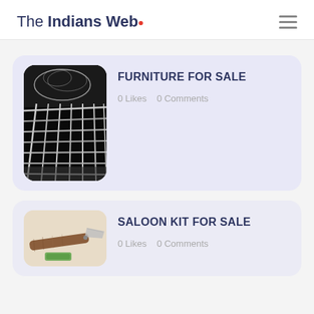The Indians Web
FURNITURE FOR SALE
0 Likes   0 Comments
[Figure (photo): Photo of white metal furniture/bed frame wrapped in plastic, viewed from above at an angle, dark background]
SALOON KIT FOR SALE
0 Likes   0 Comments
[Figure (photo): Photo of a wooden-handled straight razor on a light beige background]